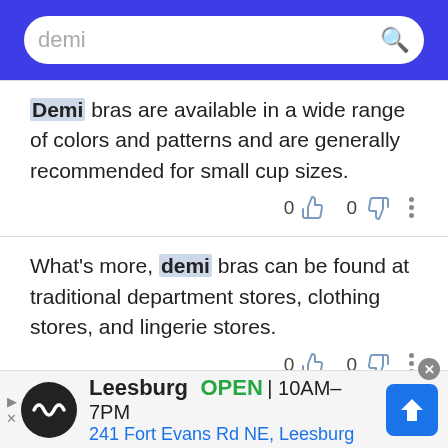[Figure (screenshot): Search bar with blue background showing query 'demi' with search icon]
Demi bras are available in a wide range of colors and patterns and are generally recommended for small cup sizes.
What's more, demi bras can be found at traditional department stores, clothing stores, and lingerie stores.
Instead of offering full or demi coverage with regular cups, they sit underneath your breasts to
[Figure (screenshot): Advertisement banner: Leesburg OPEN 10AM-7PM, 241 Fort Evans Rd NE, Leesburg]